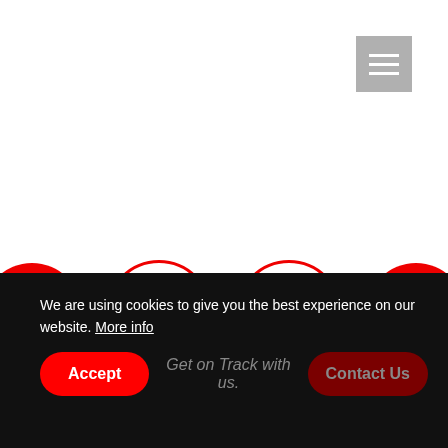[Figure (infographic): Step progress indicator with 4 circles connected by lines. Circle 1 (filled red): '01', Circle 2 (outline red): '02', Circle 3 (outline red): '03', Circle 4 (filled red): checkered flag icon.]
Order
Choose the business model that will realize your vision of an indoor adventure park.
We are using cookies to give you the best experience on our website. More info
Accept   Get on Track with us.   Contact Us